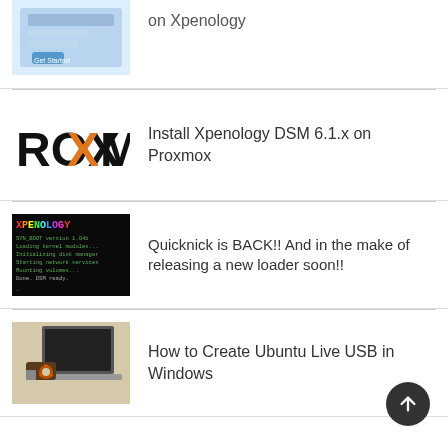on Xpenology
Install Xpenology DSM 6.1.x on Proxmox
Quicknick is BACK!! And in the make of releasing a new loader soon!!
How to Create Ubuntu Live USB in Windows